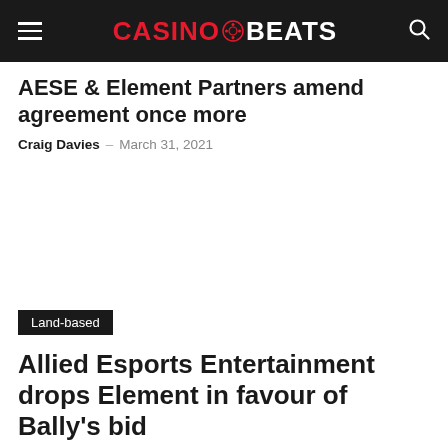CASINOBEATS
AESE & Element Partners amend agreement once more
Craig Davies – March 31, 2021
Land-based
Allied Esports Entertainment drops Element in favour of Bally's bid
Craig Davies – March 26, 2021